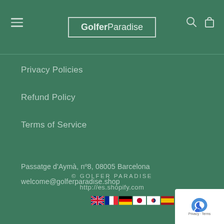GolferParadise
Privacy Policies
Refund Policy
Terms of Service
Passatge d'Aymà, nº8, 08005 Barcelona
welcome@golferparadise.shop
© GOLFER PARADISE
http://es.shopify.com